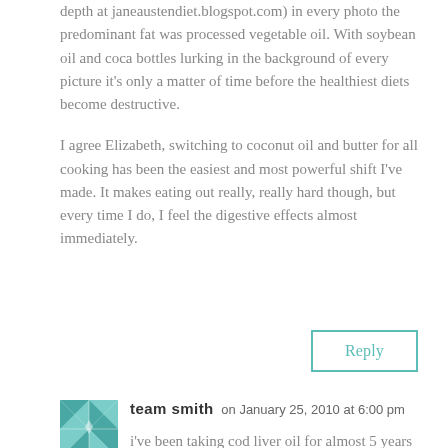depth at janeaustendiet.blogspot.com) in every photo the predominant fat was processed vegetable oil. With soybean oil and coca bottles lurking in the background of every picture it's only a matter of time before the healthiest diets become destructive.
I agree Elizabeth, switching to coconut oil and butter for all cooking has been the easiest and most powerful shift I've made. It makes eating out really, really hard though, but every time I do, I feel the digestive effects almost immediately.
Reply
team smith on January 25, 2010 at 6:00 pm
i've been taking cod liver oil for almost 5 years now and i have never had problems. i only